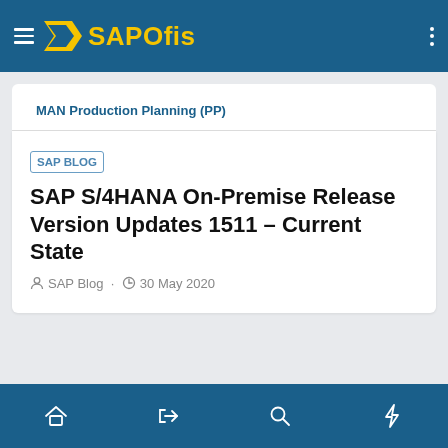SAPOfis
MAN Production Planning (PP)
SAP BLOG SAP S/4HANA On-Premise Release Version Updates 1511 – Current State
SAP Blog · 30 May 2020
Home · Login · Search · Lightning